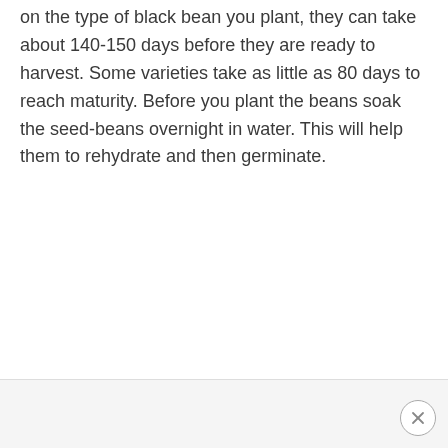on the type of black bean you plant, they can take about 140-150 days before they are ready to harvest. Some varieties take as little as 80 days to reach maturity. Before you plant the beans soak the seed-beans overnight in water. This will help them to rehydrate and then germinate.